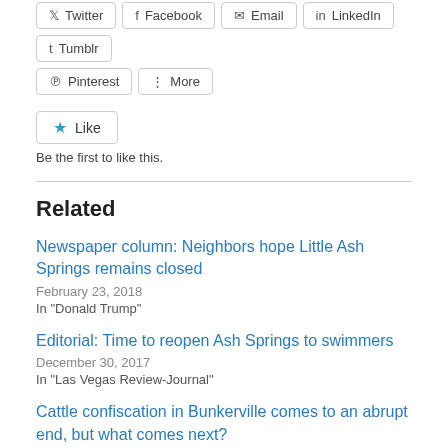[Figure (other): Social share buttons row: Twitter, Facebook, Email, LinkedIn, Tumblr]
[Figure (other): Social share buttons row: Pinterest, More]
[Figure (other): Like button with blue star icon]
Be the first to like this.
Related
Newspaper column: Neighbors hope Little Ash Springs remains closed
February 23, 2018
In "Donald Trump"
Editorial: Time to reopen Ash Springs to swimmers
December 30, 2017
In "Las Vegas Review-Journal"
Cattle confiscation in Bunkerville comes to an abrupt end, but what comes next?
April 12, 2014
In "Barack Obama"